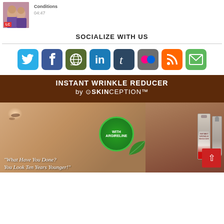[Figure (screenshot): Thumbnail image of two women with LC badge and timestamp 04:47]
SOCIALIZE WITH US
[Figure (infographic): Row of 8 social media icons: Twitter, Facebook, Web/Globe, LinkedIn, Tumblr, Flickr, RSS, Email]
[Figure (photo): Advertisement for Instant Wrinkle Reducer by Skinception with a woman's face, product bottles, green badge 'With Argireline', and quote 'What Have You Done? You Look Ten Years Younger!']